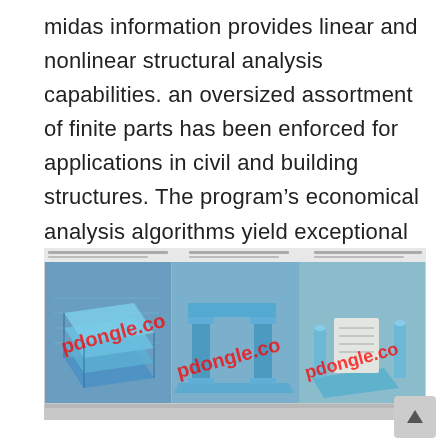midas information provides linear and nonlinear structural analysis capabilities. an oversized assortment of finite parts has been enforced for applications in civil and building structures. The program's economical analysis algorithms yield exceptional skillfulness and correct results applicable for sensible style applications.
[Figure (screenshot): Screenshot of midas structural analysis software showing three 3D finite element models: a layered plate/slab structure on the left, an I-beam/column assembly in the center, and a bolt/fastener assembly on the right. The software interface has a dark toolbar and the 3D viewport shows blue-colored structural models. Red watermark text reads 'pdongle.co' overlaid on all three model views.]